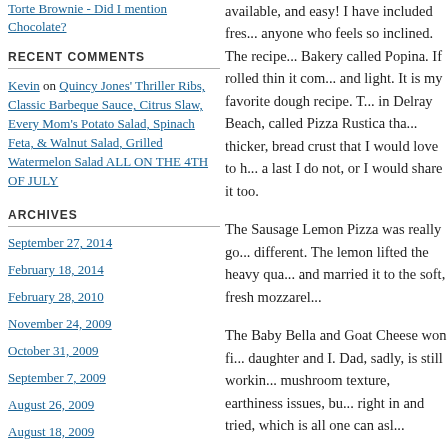Torte Brownie - Did I mention Chocolate?
RECENT COMMENTS
Kevin on Quincy Jones' Thriller Ribs, Classic Barbeque Sauce, Citrus Slaw, Every Mom's Potato Salad, Spinach Feta, & Walnut Salad, Grilled Watermelon Salad ALL ON THE 4TH OF JULY
ARCHIVES
September 27, 2014
February 18, 2014
February 28, 2010
November 24, 2009
October 31, 2009
September 7, 2009
August 26, 2009
August 18, 2009
June 5, 2009
available, and easy! I have included fre... anyone who feels so inclined. The recipe... Bakery called Popina. If rolled thin it com... and light. It is my favorite dough recipe. T... in Delray Beach, called Pizza Rustica tha... thicker, bread crust that I would love to h... a last I do not, or I would share it too.
The Sausage Lemon Pizza was really go... different. The lemon lifted the heavy qua... and married it to the soft, fresh mozzarel...
The Baby Bella and Goat Cheese won fi... daughter and I. Dad, sadly, is still workin... mushroom texture, earthiness issues, bu... right in and tried, which is all one can asl...
The Purist, which is the simple classic of... cheese: the Margherita Pizza. I chose to... these little pizzas this time because I wa... bigger tomato flavor because to me the t... always gets lost in the cheese and spice... great sauce recipe that can hold it's own... time I am going to use the sauce to gaug... This is Dad's favorite, followed by the Sa...